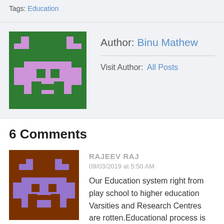Tags: Education
Author: Binu Mathew
Visit Author: All Posts
6 Comments
RAJEEV RAJ
09/03/2019 at 5:50 AM
Our Education system right from play school to higher education Varsities and Research Centres are rotten.Educational process is just